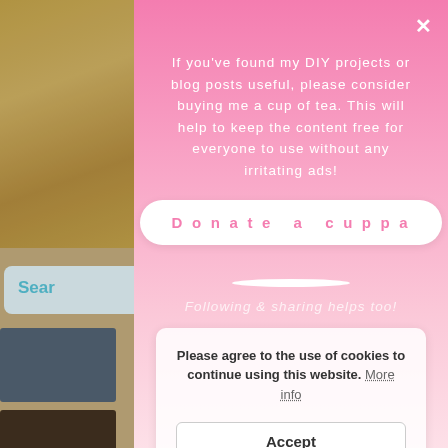[Figure (screenshot): Website background showing wood texture, search bar, sidebar thumbnails, and blue navigation links]
If you've found my DIY projects or blog posts useful, please consider buying me a cup of tea. This will help to keep the content free for everyone to use without any irritating ads!
Donate a cuppa
[Figure (photo): Circular photo of a cup of tea with biscuits on a saucer on an outdoor table]
Following & sharing helps too!
Please agree to the use of cookies to continue using this website. More info
Accept